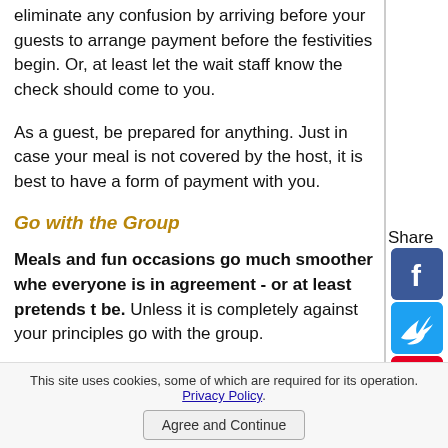eliminate any confusion by arriving before your guests to arrange payment before the festivities begin.  Or, at least let the wait staff know the check should come to you.
As a guest, be prepared for anything.  Just in case your meal is not covered by the host, it is best to have a form of payment with you.
Go with the Group
Meals and fun occasions go much smoother when everyone is in agreement - or at least pretends to be.  Unless it is completely against your principles go with the group.
This site uses cookies, some of which are required for its operation. Privacy Policy. Agree and Continue